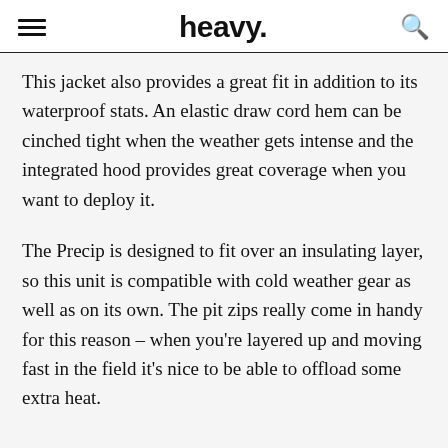heavy.
This jacket also provides a great fit in addition to its waterproof stats. An elastic draw cord hem can be cinched tight when the weather gets intense and the integrated hood provides great coverage when you want to deploy it.
The Precip is designed to fit over an insulating layer, so this unit is compatible with cold weather gear as well as on its own. The pit zips really come in handy for this reason – when you're layered up and moving fast in the field it's nice to be able to offload some extra heat.